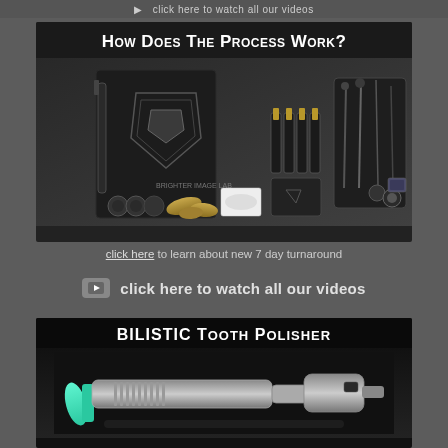click here to watch all our videos
[Figure (photo): How Does The Process Work? — product flatlay showing Brighter Image Lab dental kit with tools, syringes, whitening gel bottles, dental instruments, and accessories on a dark background]
click here to learn about new 7 day turnaround
click here to watch all our videos
[Figure (photo): Bilistic Tooth Polisher — a silver/chrome electric dental polisher tool with a teal/aqua tip, shown on a dark background]